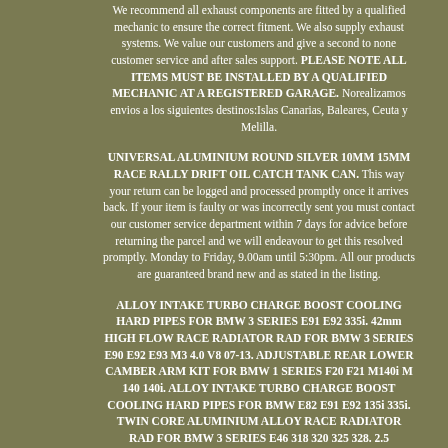We recommend all exhaust components are fitted by a qualified mechanic to ensure the correct fitment. We also supply exhaust systems. We value our customers and give a second to none customer service and after sales support. PLEASE NOTE ALL ITEMS MUST BE INSTALLED BY A QUALIFIED MECHANIC AT A REGISTERED GARAGE. Norealizamos envios a los siguientes destinos:Islas Canarias, Baleares, Ceuta y Melilla.
UNIVERSAL ALUMINIUM ROUND SILVER 10MM 15MM RACE RALLY DRIFT OIL CATCH TANK CAN. This way your return can be logged and processed promptly once it arrives back. If your item is faulty or was incorrectly sent you must contact our customer service department within 7 days for advice before returning the parcel and we will endeavour to get this resolved promptly. Monday to Friday, 9.00am until 5:30pm. All our products are guaranteed brand new and as stated in the listing.
ALLOY INTAKE TURBO CHARGE BOOST COOLING HARD PIPES FOR BMW 3 SERIES E91 E92 335i. 42mm HIGH FLOW RACE RADIATOR RAD FOR BMW 3 SERIES E90 E92 E93 M3 4.0 V8 07-13. ADJUSTABLE REAR LOWER CAMBER ARM KIT FOR BMW 1 SERIES F20 F21 M140i M 140 140i. ALLOY INTAKE TURBO CHARGE BOOST COOLING HARD PIPES FOR BMW E82 E91 E92 135i 335i. TWIN CORE ALUMINIUM ALLOY RACE RADIATOR RAD FOR BMW 3 SERIES E46 318 320 325 328. 2.5 STAINLESS SPORT EXHAUST